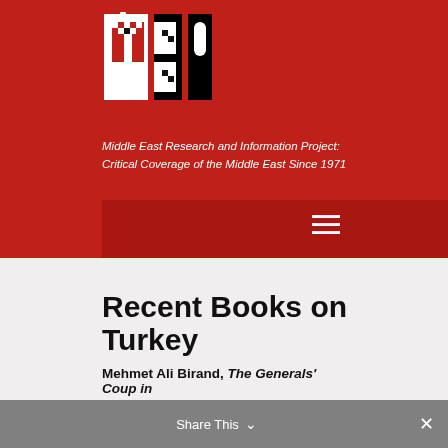[Figure (logo): MER (Middle East Research) logo — black and white block letters on red background]
Middle East Research and Information Project: Critical Coverage of the Middle East Since 1971
[Figure (other): Dark red navigation bar with hamburger menu icon on right]
Recent Books on Turkey
Ömer Karasapan In: 160 (September/October 1989)
Mehmet Ali Birand, The Generals' Coup in
Share This ∨  ×